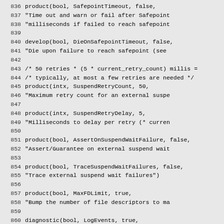Source code listing lines 836-865
836    product(bool, SafepointTimeout, false,
837          "Time out and warn or fail after Safepoint
838          "milliseconds if failed to reach safepoint
839
840    develop(bool, DieOnSafepointTimeout, false,
841          "Die upon failure to reach safepoint (see
842
843    /* 50 retries * (5 * current_retry_count) millis =
844    /* typically, at most a few retries are needed */
845    product(intx, SuspendRetryCount, 50,
846          "Maximum retry count for an external suspe
847
848    product(intx, SuspendRetryDelay, 5,
849          "Milliseconds to delay per retry (* curren
850
851    product(bool, AssertOnSuspendWaitFailure, false,
852          "Assert/Guarantee on external suspend wait
853
854    product(bool, TraceSuspendWaitFailures, false,
855          "Trace external suspend wait failures")
856
857    product(bool, MaxFDLimit, true,
858          "Bump the number of file descriptors to ma
859
860    diagnostic(bool, LogEvents, true,
861          "Enable the various ring buffer event logs
862
863    diagnostic(uintx, LogEventsBufferEntries, 10,
864          "Number of ring buffer event logs")
865